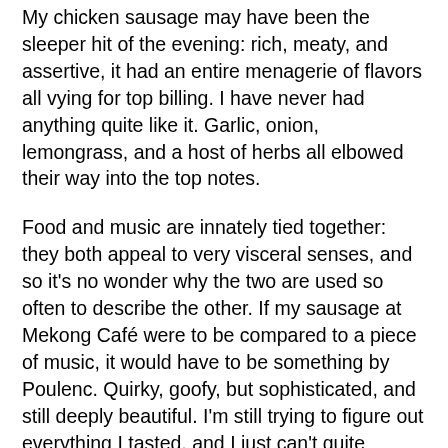My chicken sausage may have been the sleeper hit of the evening: rich, meaty, and assertive, it had an entire menagerie of flavors all vying for top billing. I have never had anything quite like it. Garlic, onion, lemongrass, and a host of herbs all elbowed their way into the top notes.
Food and music are innately tied together: they both appeal to very visceral senses, and so it's no wonder why the two are used so often to describe the other. If my sausage at Mekong Café were to be compared to a piece of music, it would have to be something by Poulenc. Quirky, goofy, but sophisticated, and still deeply beautiful. I'm still trying to figure out everything I tasted, and I just can't quite narrow it down. Crispy on the outside, firm and meaty on the inside, Grandma Chantra must be an amazing cook.
My only gripe for my dish (and, really, for the evening) was the Papaya salad that came with my sausage. I asked our bubbly, kind waitress what the best option was, either the salad or steamed veggies, and she said the salad was traditional. Trusting her word, I ordered it at a medium spice level. However, when it arrived, I became keenly aware the